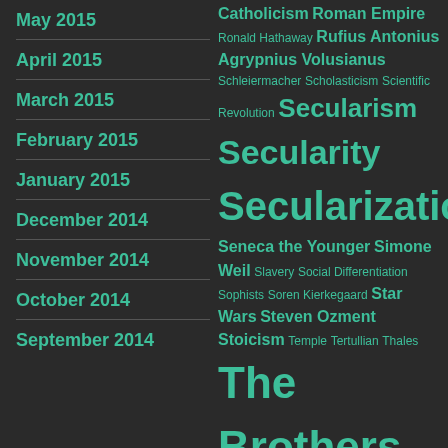May 2015
April 2015
March 2015
February 2015
January 2015
December 2014
November 2014
October 2014
September 2014
Catholicism Roman Empire Ronald Hathaway Rufius Antonius Agrypnius Volusianus Schleiermacher Scholasticism Scientific Revolution Secularism Secularity Secularization Seneca the Younger Simone Weil Slavery Social Differentiation Sophists Soren Kierkegaard Star Wars Steven Ozment Stoicism Temple Tertullian Thales The Brothers Karamazov